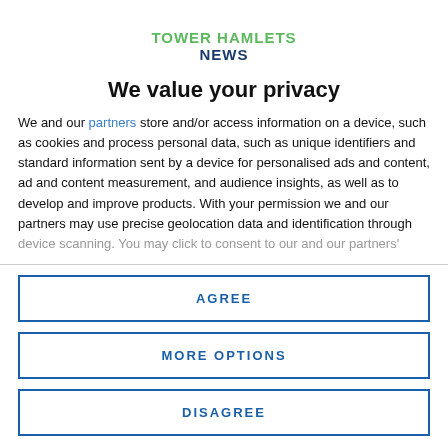[Figure (logo): Tower Hamlets News logo with green 'TOWER HAMLETS' text and dark blue 'NEWS' text]
We value your privacy
We and our partners store and/or access information on a device, such as cookies and process personal data, such as unique identifiers and standard information sent by a device for personalised ads and content, ad and content measurement, and audience insights, as well as to develop and improve products. With your permission we and our partners may use precise geolocation data and identification through device scanning. You may click to consent to our and our partners'
AGREE
MORE OPTIONS
DISAGREE